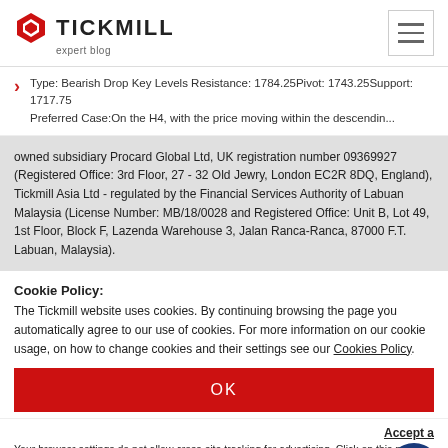TICKMILL expert blog
Type: Bearish Drop Key Levels Resistance: 1784.25Pivot: 1743.25Support: 1717.75 Preferred Case:On the H4, with the price moving within the descendin...
owned subsidiary Procard Global Ltd, UK registration number 09369927 (Registered Office: 3rd Floor, 27 - 32 Old Jewry, London EC2R 8DQ, England), Tickmill Asia Ltd - regulated by the Financial Services Authority of Labuan Malaysia (License Number: MB/18/0028 and Registered Office: Unit B, Lot 49, 1st Floor, Block F, Lazenda Warehouse 3, Jalan Ranca-Ranca, 87000 F.T. Labuan, Malaysia).
Cookie Policy:
The Tickmill website uses cookies. By continuing browsing the page you automatically agree to our use of cookies. For more information on our cookie usage, on how to change cookies and their settings see our Cookies Policy.
OK
Accept a[dRoll tracking]
Your browser settings do not allow cross-site tracking for advertising. Click on this page AdRoll to use cross-site tracking to tailor ads to you. Learn more or opt out of this AdRoll by clicking here. This message only appears once.